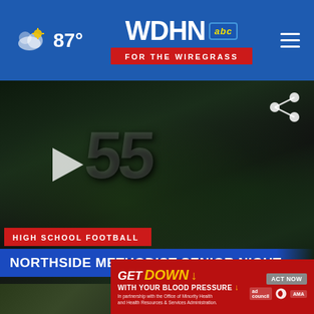WDHN ABC FOR THE WIREGRASS — 87°
[Figure (screenshot): Video thumbnail of high school football players in green jerseys, player #55 prominent. Play button overlay visible. Lower-third graphic reads HIGH SCHOOL FOOTBALL / NORTHSIDE METHODIST SENIOR NIGHT]
HIGH SCHOOL FOOTBALL — NORTHSIDE METHODIST SENIOR NIGHT
[Figure (photo): Three thumbnail images in a row at the bottom of the screen]
[Figure (infographic): Advertisement banner: GET DOWN WITH YOUR BLOOD PRESSURE — ACT NOW — logos for Ad Council, American Heart Association, AMA. In partnership with the Office of Minority Health and Health Resources & Services Administration.]